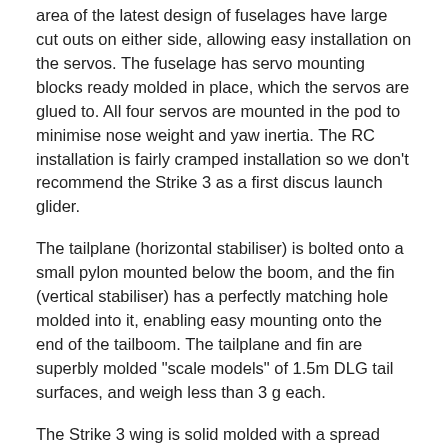area of the latest design of fuselages have large cut outs on either side, allowing easy installation on the servos. The fuselage has servo mounting blocks ready molded in place, which the servos are glued to. All four servos are mounted in the pod to minimise nose weight and yaw inertia. The RC installation is fairly cramped installation so we don't recommend the Strike 3 as a first discus launch glider.
The tailplane (horizontal stabiliser) is bolted onto a small pylon mounted below the boom, and the fin (vertical stabiliser) has a perfectly matching hole molded into it, enabling easy mounting onto the end of the tailboom. The tailplane and fin are superbly molded "scale models" of 1.5m DLG tail surfaces, and weigh less than 3 g each.
The Strike 3 wing is solid molded with a spread carbon skin over a CNC cut Rohacell 31 core. This is a stronger more dimensionally stable foam resulting in a more rigid wing that will retain a good surface finish for longer. The wing is a beautifully made spread carbon molded structure. It is incredibly light and strong, and has a perfect surface finish. The ailerons are fabricated with a living hinge. The only work required to finish the wings is installing the throwing blade and